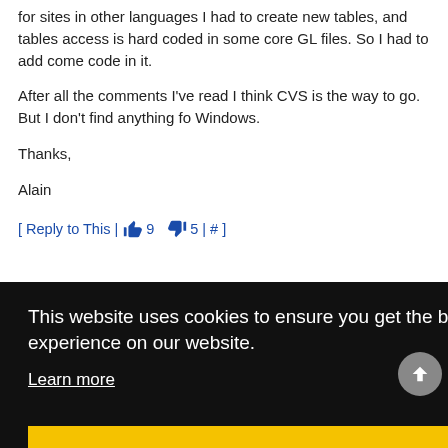for sites in other languages I had to create new tables, and tables access is hard coded in some core GL files. So I had to add come code in it.

After all the comments I've read I think CVS is the way to go. But I don't find anything fo Windows.

Thanks,

Alain
[ Reply to This | 👍 9  👎 5 | # ]
This website uses cookies to ensure you get the best experience on our website.
Learn more
Got it!
[ Reply to This | 👍 5  👎 6 | # ]